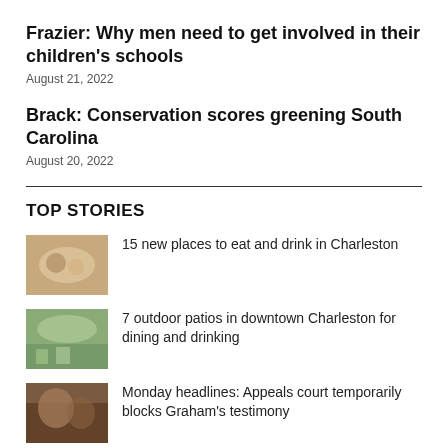Frazier: Why men need to get involved in their children’s schools
August 21, 2022
Brack: Conservation scores greening South Carolina
August 20, 2022
TOP STORIES
15 new places to eat and drink in Charleston
7 outdoor patios in downtown Charleston for dining and drinking
Monday headlines: Appeals court temporarily blocks Graham’s testimony
MYSTERY PHOTO, 8/22: Three holes